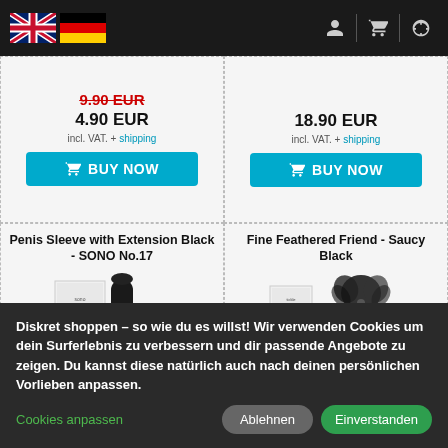Navigation header with UK and German flags and icons
9.90 EUR (strikethrough) 4.90 EUR incl. VAT. + shipping
18.90 EUR incl. VAT. + shipping
BUY NOW
BUY NOW
Penis Sleeve with Extension Black - SONO No.17
[Figure (photo): Product photo of a black penis sleeve extension with packaging box (SONO No.17)]
Fine Feathered Friend - Saucy Black
[Figure (photo): Product photo of a black feather tickler with beaded handle and packaging box]
Diskret shoppen – so wie du es willst! Wir verwenden Cookies um dein Surferlebnis zu verbessern und dir passende Angebote zu zeigen. Du kannst diese natürlich auch nach deinen persönlichen Vorlieben anpassen.
Cookies anpassen
Ablehnen
Einverstanden